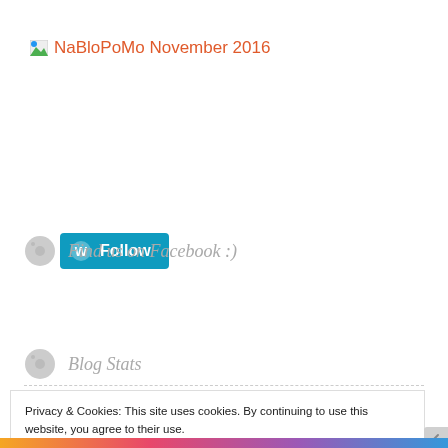[Figure (screenshot): Broken image icon followed by orange link text reading 'NaBloPoMo November 2016']
[Figure (screenshot): WordPress Follow button in teal/blue color with WordPress logo icon]
Find us on Facebook :)
Blog Stats
Privacy & Cookies: This site uses cookies. By continuing to use this website, you agree to their use.
To find out more, including how to control cookies, see here: Cookie Policy
[Figure (screenshot): Close and accept button]